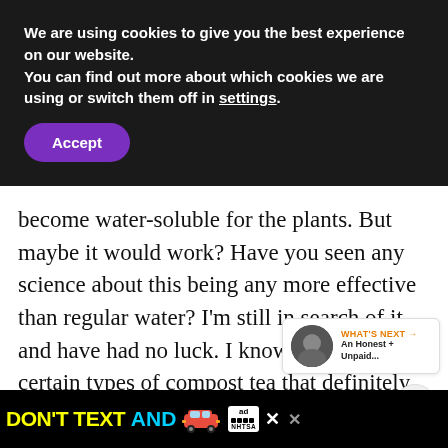We are using cookies to give you the best experience on our website.
You can find out more about which cookies we are using or switch them off in settings.
Accept
become water-soluble for the plants. But maybe it would work? Have you seen any science about this being any more effective than regular water? I'm still in search of it and have had no luck. I know there are certain types of compost tea that definitely work. I'm just not sure if bananas on a jar in a (for any length of time and even if strained) is
[Figure (infographic): Share icon button (circle with share symbol)]
[Figure (infographic): WHAT'S NEXT box with circular photo of person and text 'An Honest + Unpaid...']
[Figure (infographic): Advertisement bar: DON'T TEXT AND with car emoji, ad badge, NHTSA logo, and close buttons]